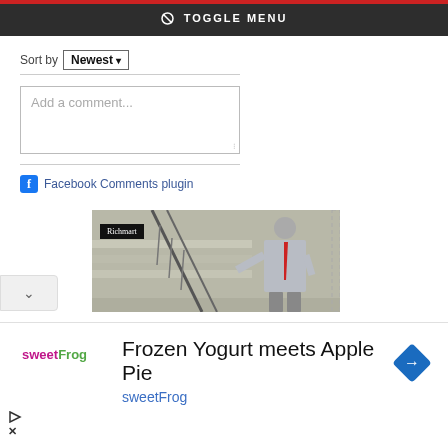TOGGLE MENU
Sort by Newest
Add a comment...
Facebook Comments plugin
[Figure (photo): Advertisement image showing a man in a grey suit with red tie standing on stairs outside a stone building. Richmart brand badge visible in top-left corner of image.]
Frozen Yogurt meets Apple Pie sweetFrog